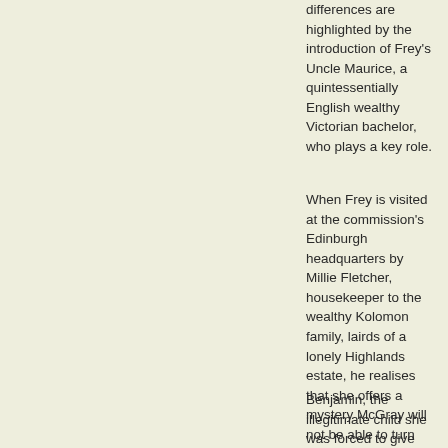differences are highlighted by the introduction of Frey's Uncle Maurice, a quintessentially English wealthy Victorian bachelor, who plays a key role.
When Frey is visited at the commission's Edinburgh headquarters by Millie Fletcher, housekeeper to the wealthy Kolomon family, lairds of a lonely Highlands estate, he realises that she offers a mystery McGray will not be able to turn down.
Benjamin, the illegitimate child she was forced to give away, is being